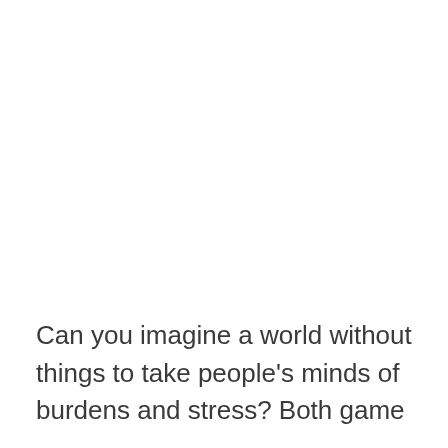Can you imagine a world without things to take people's minds of burdens and stress? Both game